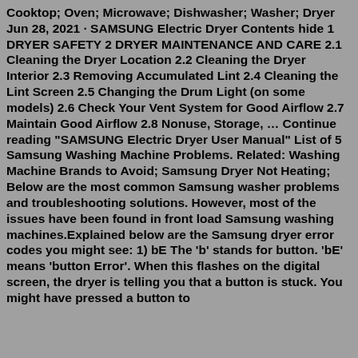Cooktop; Oven; Microwave; Dishwasher; Washer; Dryer Jun 28, 2021 · SAMSUNG Electric Dryer Contents hide 1 DRYER SAFETY 2 DRYER MAINTENANCE AND CARE 2.1 Cleaning the Dryer Location 2.2 Cleaning the Dryer Interior 2.3 Removing Accumulated Lint 2.4 Cleaning the Lint Screen 2.5 Changing the Drum Light (on some models) 2.6 Check Your Vent System for Good Airflow 2.7 Maintain Good Airflow 2.8 Nonuse, Storage, … Continue reading "SAMSUNG Electric Dryer User Manual" List of 5 Samsung Washing Machine Problems. Related: Washing Machine Brands to Avoid; Samsung Dryer Not Heating; Below are the most common Samsung washer problems and troubleshooting solutions. However, most of the issues have been found in front load Samsung washing machines.Explained below are the Samsung dryer error codes you might see: 1) bE The 'b' stands for button. 'bE' means 'button Error'. When this flashes on the digital screen, the dryer is telling you that a button is stuck. You might have pressed a button to